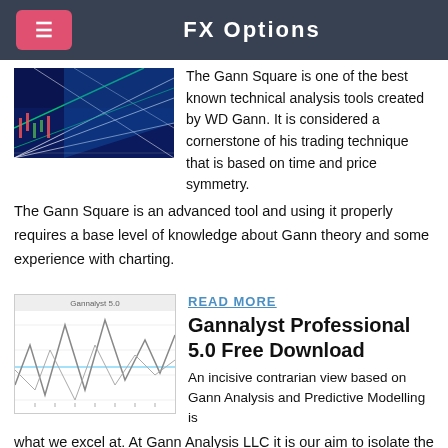FX Options
[Figure (screenshot): Gann Square chart screenshot showing a dark blue background with diagonal and fan lines (white/green) overlaid on a price chart]
The Gann Square is one of the best known technical analysis tools created by WD Gann. It is considered a cornerstone of his trading technique that is based on time and price symmetry. The Gann Square is an advanced tool and using it properly requires a base level of knowledge about Gann theory and some experience with charting.
[Figure (screenshot): Gannalyst Professional chart screenshot showing a white background with jagged line patterns resembling wave analysis]
READ MORE
Gannalyst Professional 5.0 Free Download
An incisive contrarian view based on Gann Analysis and Predictive Modelling is what we excel at. At Gann Analysis LLC it is our aim to isolate the short, intermediate and long-term turning points well in advance of the event by using Gann Theory, Technical Analysis and Artificial